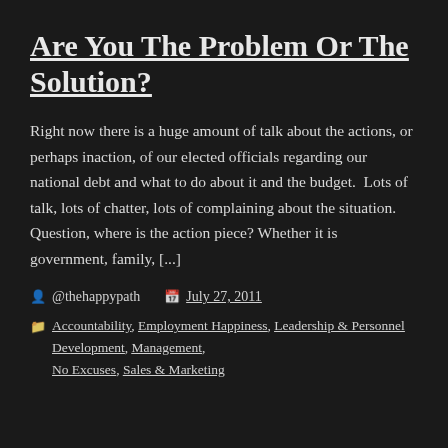Are You The Problem Or The Solution?
Right now there is a huge amount of talk about the actions, or perhaps inaction, of our elected officials regarding our national debt and what to do about it and the budget.  Lots of talk, lots of chatter, lots of complaining about the situation.  Question, where is the action piece? Whether it is government, family, [...]
@thehappypath   July 27, 2011
Accountability, Employment Happiness, Leadership & Personnel Development, Management, No Excuses, Sales & Marketing